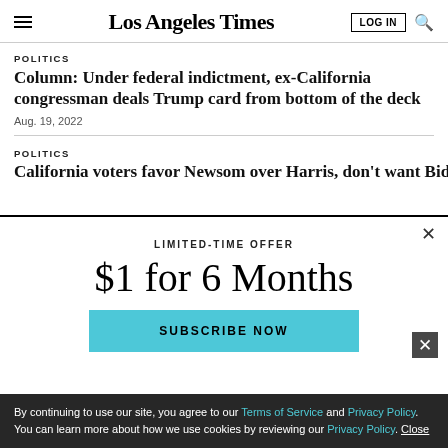Los Angeles Times
POLITICS
Column: Under federal indictment, ex-California congressman deals Trump card from bottom of the deck
Aug. 19, 2022
POLITICS
California voters favor Newsom over Harris, don't want Biden
LIMITED-TIME OFFER
$1 for 6 Months
SUBSCRIBE NOW
By continuing to use our site, you agree to our Terms of Service and Privacy Policy. You can learn more about how we use cookies by reviewing our Privacy Policy. Close